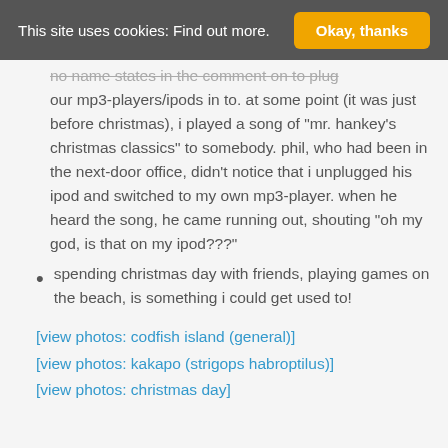This site uses cookies: Find out more.  Okay, thanks
no name states in the comment on to plug our mp3-players/ipods in to. at some point (it was just before christmas), i played a song of “mr. hankey’s christmas classics” to somebody. phil, who had been in the next-door office, didn’t notice that i unplugged his ipod and switched to my own mp3-player. when he heard the song, he came running out, shouting “oh my god, is that on my ipod???”
spending christmas day with friends, playing games on the beach, is something i could get used to!
[view photos: codfish island (general)]
[view photos: kakapo (strigops habroptilus)]
[view photos: christmas day]